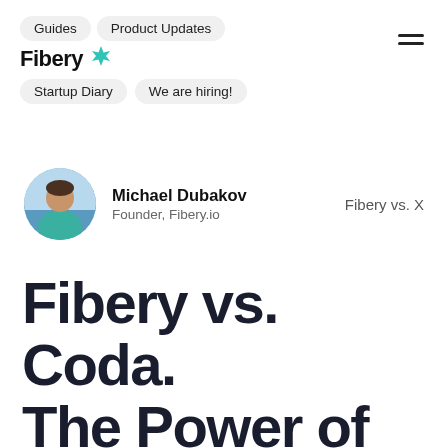Guides | Product Updates | Fibery | Startup Diary | We are hiring!
Michael Dubakov
Founder, Fibery.io
Fibery vs. X
Fibery vs. Coda. The Power of Workarounds.